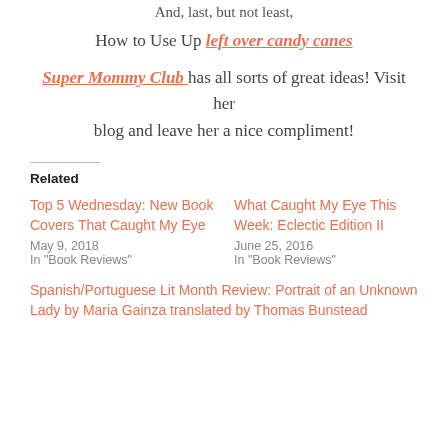And, last, but not least,
How to Use Up left over candy canes
Super Mommy Club has all sorts of great ideas! Visit her blog and leave her a nice compliment!
Related
Top 5 Wednesday: New Book Covers That Caught My Eye
May 9, 2018
In "Book Reviews"
What Caught My Eye This Week: Eclectic Edition II
June 25, 2016
In "Book Reviews"
Spanish/Portuguese Lit Month Review: Portrait of an Unknown Lady by Maria Gainza translated by Thomas Bunstead